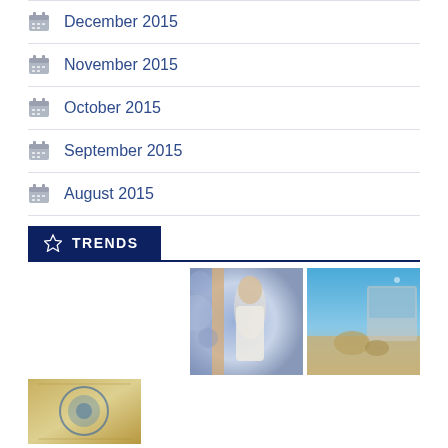December 2015
November 2015
October 2015
September 2015
August 2015
TRENDS
[Figure (photo): Woman in white dress standing in front of blue and white patterned background]
[Figure (photo): Person sitting by a van on a beach with blue sky]
[Figure (photo): Partial view of decorative tile or plate with blue pattern]